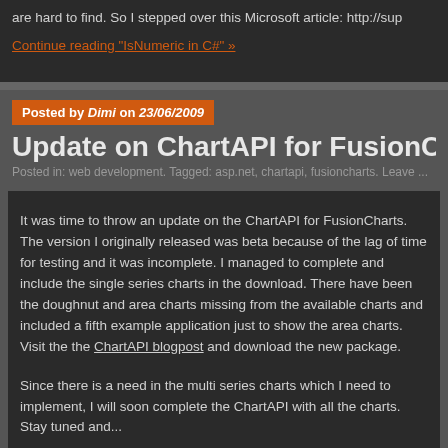are hard to find. So I stepped over this Microsoft article: http://sup
Continue reading "IsNumeric in C#" »
Posted by Dimi on 23/06/2009
Update on ChartAPI for FusionCha...
Posted in: web development. Tagged: asp.net, chartapi, fusioncharts. Leave ...
It was time to throw an update on the ChartAPI for FusionCharts. The version I originally released was beta because of the lag of time for testing and it was incomplete. I managed to complete and include the single series charts in the download. There have been the doughnut and area charts missing from the available charts and included a fifth example application just to show the area charts. Visit the the ChartAPI blogpost and download the new package.
Since there is a need in the multi series charts which I need to implement, I will soon complete the ChartAPI with all the charts. Stay tuned and...